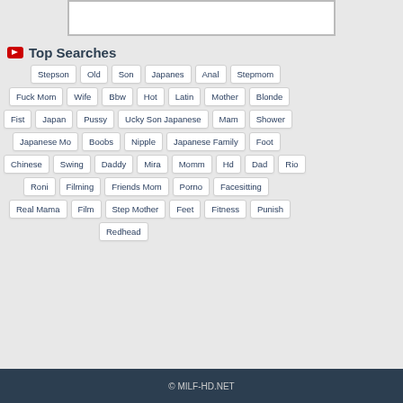[Figure (other): Partial image/video thumbnail box at top of page]
Top Searches
Stepson
Old
Son
Japanes
Anal
Stepmom
Fuck Mom
Wife
Bbw
Hot
Latin
Mother
Blonde
Fist
Japan
Pussy
Ucky Son Japanese
Mam
Shower
Japanese Mo
Boobs
Nipple
Japanese Family
Foot
Chinese
Swing
Daddy
Mira
Momm
Hd
Dad
Rio
Roni
Filming
Friends Mom
Porno
Facesitting
Real Mama
Film
Step Mother
Feet
Fitness
Punish
Redhead
© MILF-HD.NET